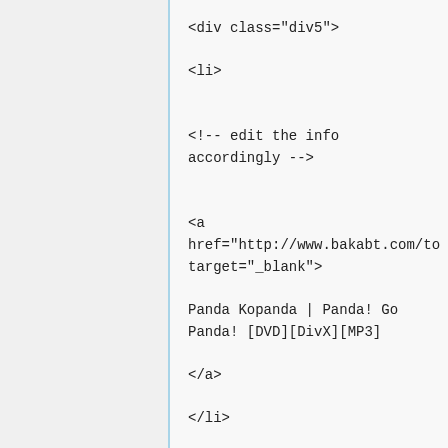<div class="div5">

<li>


<!-- edit the info
accordingly -->


<a
href="http://www.bakabt.com/to
target="_blank">

Panda Kopanda | Panda! Go
Panda! [DVD][DivX][MP3]

</a>

</li>

</div>